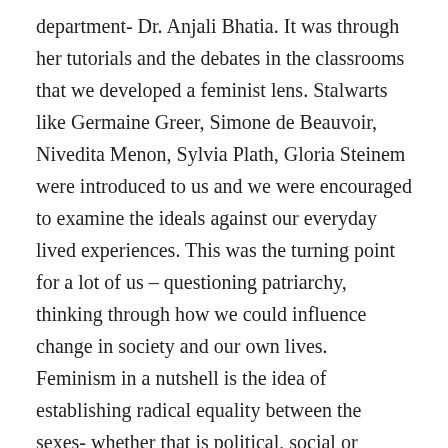department- Dr. Anjali Bhatia. It was through her tutorials and the debates in the classrooms that we developed a feminist lens. Stalwarts like Germaine Greer, Simone de Beauvoir, Nivedita Menon, Sylvia Plath, Gloria Steinem were introduced to us and we were encouraged to examine the ideals against our everyday lived experiences. This was the turning point for a lot of us – questioning patriarchy, thinking through how we could influence change in society and our own lives. Feminism in a nutshell is the idea of establishing radical equality between the sexes- whether that is political, social or economic. And no, humanism is not feminism. To be a feminist is to recognize that we stand on the shoulders of giants who came before us and it is a responsibility to make the world a better place for women. I find